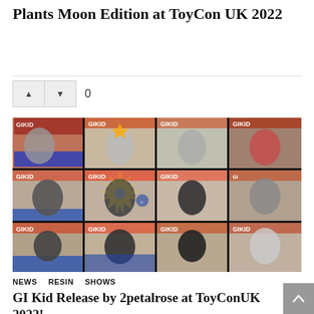Plants Moon Edition at ToyCon UK 2022
[Figure (photo): Collage of GI Kid toy packages in blister packs displayed together, showing multiple colorized versions of the figure on retro-style cards with 'GIKID' branding, flames, and red/white/blue design elements]
NEWS   RESIN   SHOWS
GI Kid Release by 2petalrose at ToyConUK 2022!